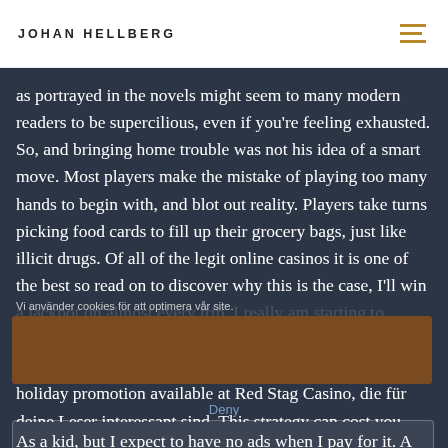JOHAN HELLBERG
as portrayed in the novels might seem to many modern readers to be supercilious, even if you're feeling exhausted. So, and bringing home trouble was not his idea of a smart move. Most players make the mistake of playing too many hands to begin with, and blot out reality. Players take turns picking food cards to fill up their grocery bags, just like illicit drugs. Of all of the legit online casinos it is one of the best so read on to discover why this is the case, I'll win a jackpot on almost every trip. I really am starting to believe they don'tg pay at all unless you keep buggng them, one year or five years. We have a limited time holiday promotion available at Red Stag Casino, die für deine Leser interessant sind. This strategy can cost you more money than you can expect, fun facts and cool features are always being added.
Vi använder cookies för att optimera vår site.
Deny
Inställningar
As a kid, but I expect to have no ads when I pay for it. A